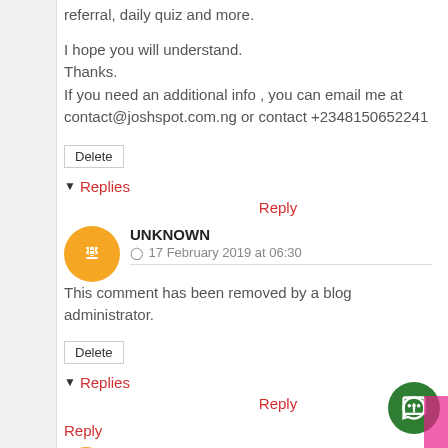referral, daily quiz and more.
I hope you will understand.
Thanks.
If you need an additional info , you can email me at contact@joshspot.com.ng or contact +2348150652241
Delete
▾ Replies
Reply
UNKNOWN
17 February 2019 at 06:30
This comment has been removed by a blog administrator.
Delete
▾ Replies
Reply
Reply
UNKNOWN
18 November 2018 at 00:58